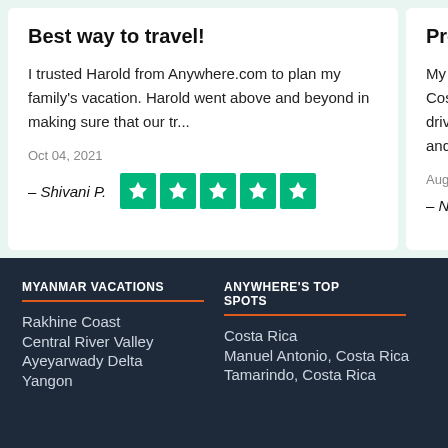Best way to travel!
I trusted Harold from Anywhere.com to plan my family's vacation. Harold went above and beyond in making sure that our tr...
Oct 04, 2021
– Shivani P.
Profe...
My exper... Costa Ric... drivers w... and all o...
Aug 02, 202...
– Natas...
MYANMAR VACATIONS
Rakhine Coast
Central River Valley
Ayeyarwady Delta
Yangon
ANYWHERE'S TOP SPOTS
Costa Rica
Manuel Antonio, Costa Rica
Tamarindo, Costa Rica